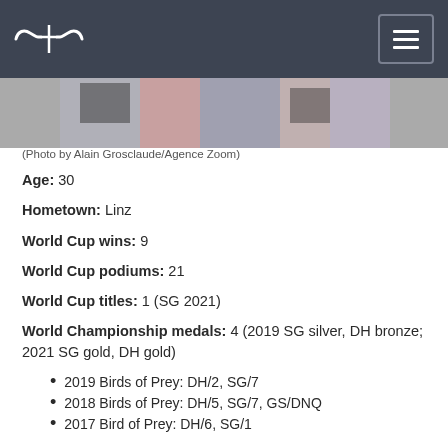Navigation header with logo and menu button
[Figure (photo): Partial image strip of an athlete, cropped at top]
(Photo by Alain Grosclaude/Agence Zoom)
Age: 30
Hometown: Linz
World Cup wins: 9
World Cup podiums: 21
World Cup titles: 1 (SG 2021)
World Championship medals: 4 (2019 SG silver, DH bronze; 2021 SG gold, DH gold)
2019 Birds of Prey: DH/2, SG/7
2018 Birds of Prey: DH/5, SG/7, GS/DNQ
2017 Bird of Prey: DH/6, SG/1